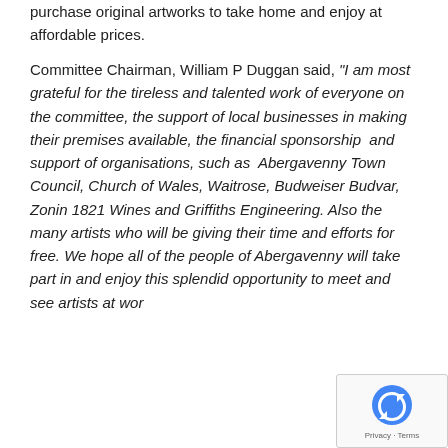purchase original artworks to take home and enjoy at affordable prices.
Committee Chairman, William P Duggan said, "I am most grateful for the tireless and talented work of everyone on the committee, the support of local businesses in making their premises available, the financial sponsorship  and support of organisations, such as  Abergavenny Town Council, Church of Wales, Waitrose, Budweiser Budvar, Zonin 1821 Wines and Griffiths Engineering. Also the many artists who will be giving their time and efforts for free. We hope all of the people of Abergavenny will take part in and enjoy this splendid opportunity to meet and see artists at wor...